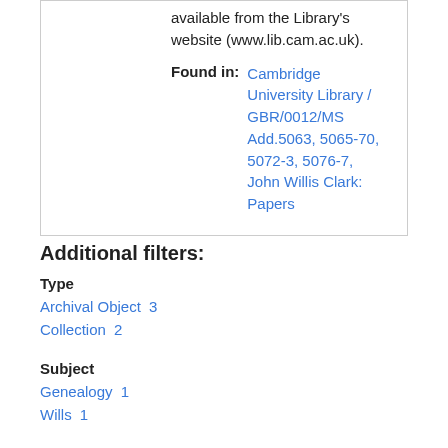available from the Library's website (www.lib.cam.ac.uk).
Found in:  Cambridge University Library / GBR/0012/MS Add.5063, 5065-70, 5072-3, 5076-7, John Willis Clark: Papers
Additional filters:
Type
Archival Object  3
Collection  2
Subject
Genealogy  1
Wills  1